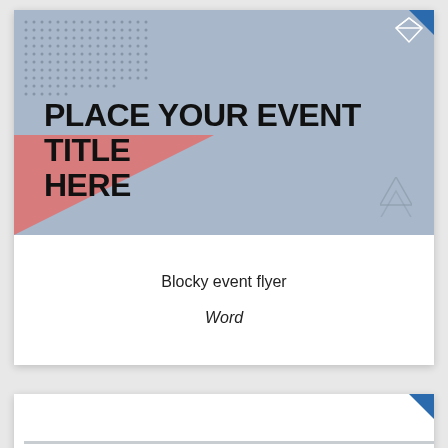[Figure (illustration): Event flyer template thumbnail with blue/grey geometric background, dot pattern top-left, pink triangle accent, diamond icon top-right, arrow icons bottom-right]
PLACE YOUR EVENT TITLE HERE
EVENT SUBTITLE CAN GO HERE
Blocky event flyer
Word
[Figure (illustration): Second event flyer template thumbnail, partially visible, with diamond icon top-right and a horizontal line]